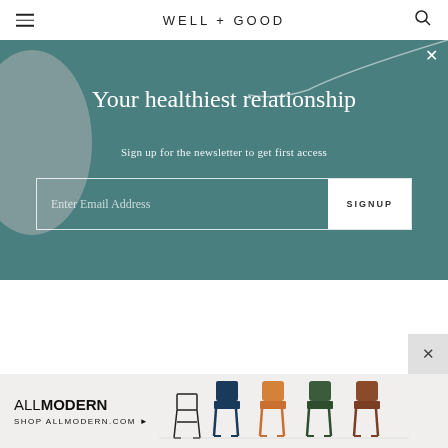WELL+GOOD
[Figure (screenshot): Teal newsletter signup banner with decorative grey circle on left, swoosh line on top right, close X button, headline 'Your healthiest relationship', subtitle 'Sign up for the newsletter to get first access', and email input field with SIGNUP button]
[Figure (screenshot): AllModern advertisement banner showing chairs and text 'ALLMODERN SHOP ALLMODERN.COM']